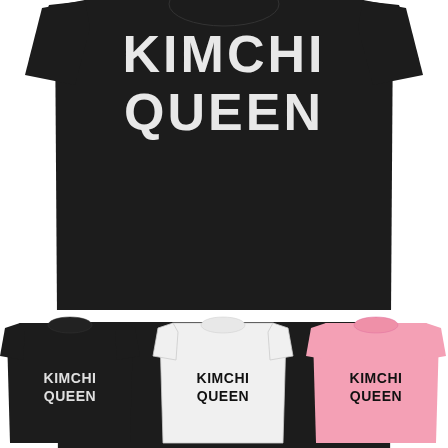[Figure (photo): Product photo collage of 'KIMCHI QUEEN' t-shirts. Main large image shows a black women's t-shirt with 'KIMCHI QUEEN' printed in large white block letters on the chest, worn by a model (torso only visible). Below are three smaller t-shirt flat-lay images: left is black with white 'KIMCHI QUEEN' text, center is white with black 'KIMCHI QUEEN' text, right is pink with black 'KIMCHI QUEEN' text.]